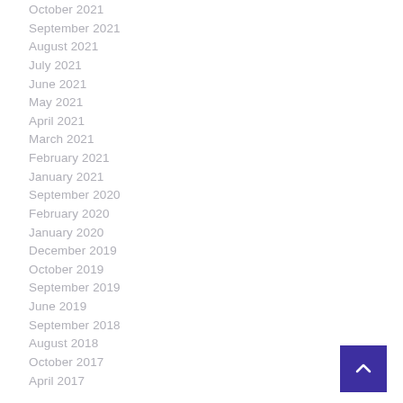October 2021
September 2021
August 2021
July 2021
June 2021
May 2021
April 2021
March 2021
February 2021
January 2021
September 2020
February 2020
January 2020
December 2019
October 2019
September 2019
June 2019
September 2018
August 2018
October 2017
April 2017